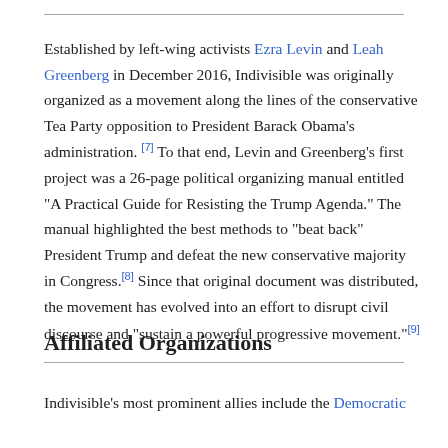Established by left-wing activists Ezra Levin and Leah Greenberg in December 2016, Indivisible was originally organized as a movement along the lines of the conservative Tea Party opposition to President Barack Obama’s administration. [7] To that end, Levin and Greenberg’s first project was a 26-page political organizing manual entitled “A Practical Guide for Resisting the Trump Agenda.” The manual highlighted the best methods to “beat back” President Trump and defeat the new conservative majority in Congress. [8] Since that original document was distributed, the movement has evolved into an effort to disrupt civil discourse and “sustain a powerful progressive movement.” [9]
Affiliated Organizations
Indivisible’s most prominent allies include the Democratic